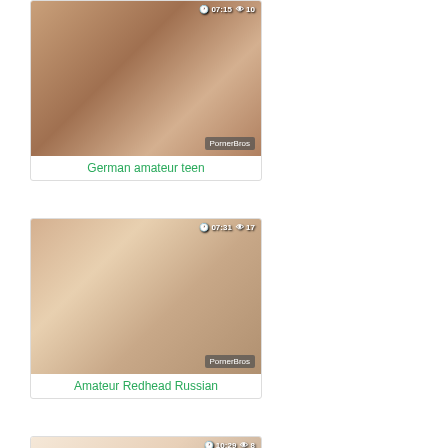[Figure (photo): Video thumbnail for German amateur teen - duration 07:15, views 10, PornerBros watermark]
German amateur teen
[Figure (photo): Video thumbnail for Amateur Redhead Russian - duration 07:31, views 17, PornerBros watermark]
Amateur Redhead Russian
[Figure (photo): Video thumbnail - duration 10:29, views 8]